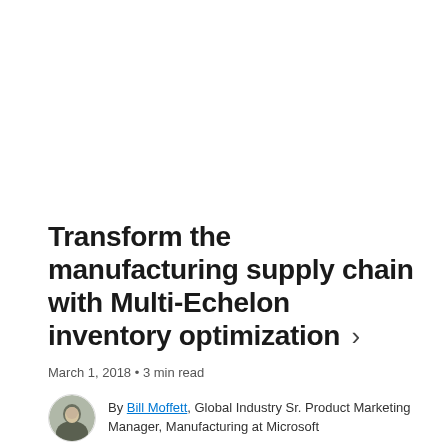Transform the manufacturing supply chain with Multi-Echelon inventory optimization >
March 1, 2018 • 3 min read
By Bill Moffett, Global Industry Sr. Product Marketing Manager, Manufacturing at Microsoft
This blog summarizes challenges around